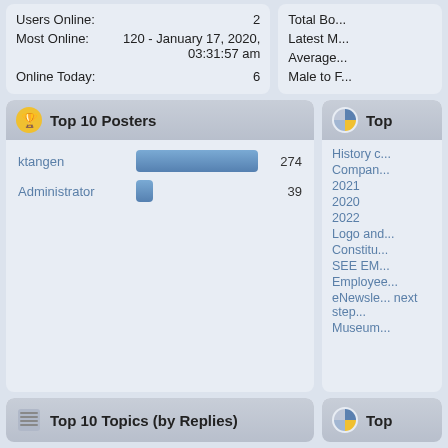|  |  |
| --- | --- |
| Users Online: | 2 |
| Most Online: | 120 - January 17, 2020, 03:31:57 am |
| Online Today: | 6 |
Top 10 Posters
[Figure (bar-chart): Top 10 Posters]
History o...
Compan...
2021
2020
2022
Logo and...
Constitu...
SEE EM...
Employee...
eNewsle... next step...
Museum...
Top 10 Topics (by Replies)
Top